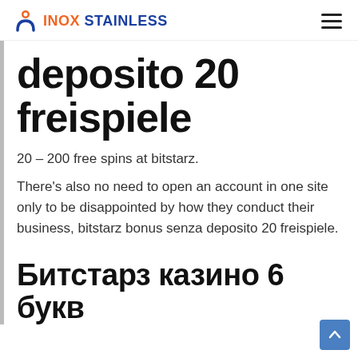INOX STAINLESS
deposito 20 freispiele
20 – 200 free spins at bitstarz.
There's also no need to open an account in one site only to be disappointed by how they conduct their business, bitstarz bonus senza deposito 20 freispiele.
Битстарз казино 6 букв